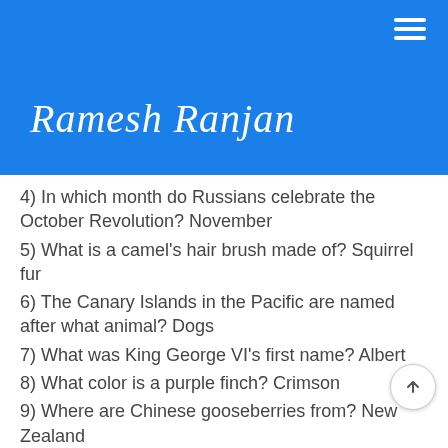Ramesh Ranjan
4) In which month do Russians celebrate the October Revolution? November
5) What is a camel's hair brush made of? Squirrel fur
6) The Canary Islands in the Pacific are named after what animal? Dogs
7) What was King George VI's first name? Albert
8) What color is a purple finch? Crimson
9) Where are Chinese gooseberries from? New Zealand
10) What is the color of the black box in a commercial airplane? Orange (of course) What do you mean, you failed?
huh????????????? ???????? So we thought were intelligent.....
Whats your score??????? ???????